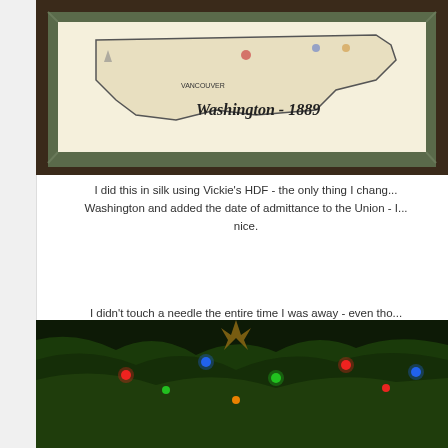[Figure (photo): Framed cross-stitch embroidery of Washington state map with text 'Washington - 1889' and green matting in a dark frame]
I did this in silk using Vickie's HDF - the only thing I chang... Washington and added the date of admittance to the Union - I... nice.
I didn't touch a needle the entire time I was away - even tho... getting a couple of things finished ... but that did not happen... present waiting for me when I got back here from Vonna - o... finding some delicious goodies, a super snap a...
[Figure (photo): Christmas tree with colorful lights including red, green, and blue lights among pine branches]